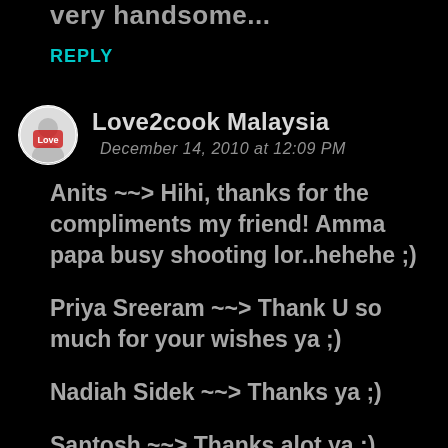very handsome...
REPLY
Love2cook Malaysia
December 14, 2010 at 12:09 PM
Anits ~~> Hihi, thanks for the compliments my friend! Amma papa busy shooting lor..hehehe ;)
Priya Sreeram ~~> Thank U so much for your wishes ya ;)
Nadiah Sidek ~~> Thanks ya ;)
Santosh ~~> Thanks alot ya ;)